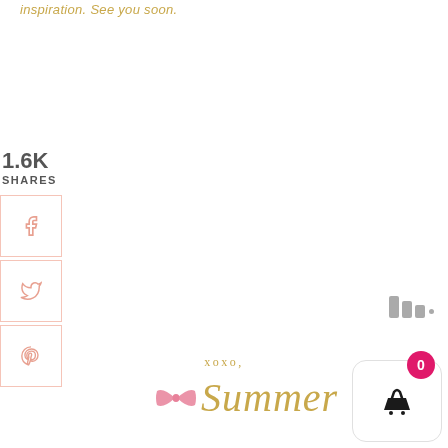inspiration. See you soon.
1.6K
SHARES
[Figure (infographic): Facebook share button with pink border and salmon-colored f icon]
[Figure (infographic): Twitter share button with pink border and salmon-colored bird icon]
[Figure (infographic): Pinterest share button with pink border and salmon-colored P icon]
[Figure (infographic): Three vertical bars widget indicator in gray, top-right area]
xoxo,
[Figure (illustration): Pink bow tie icon followed by cursive Summer signature in gold]
[Figure (infographic): Shopping cart widget with magenta badge showing 0, white rounded square background with black basket icon]